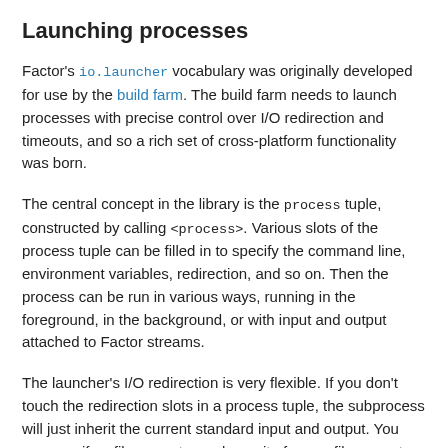Launching processes
Factor's io.launcher vocabulary was originally developed for use by the build farm. The build farm needs to launch processes with precise control over I/O redirection and timeouts, and so a rich set of cross-platform functionality was born.
The central concept in the library is the process tuple, constructed by calling <process>. Various slots of the process tuple can be filled in to specify the command line, environment variables, redirection, and so on. Then the process can be run in various ways, running in the foreground, in the background, or with input and output attached to Factor streams.
The launcher's I/O redirection is very flexible. If you don't touch the redirection slots in a process tuple, the subprocess will just inherit the current standard input and output. You can specify a file name to read or write from, a file name to append to, or even supply a pipe object, constructed from the io.pipes vocabulary.